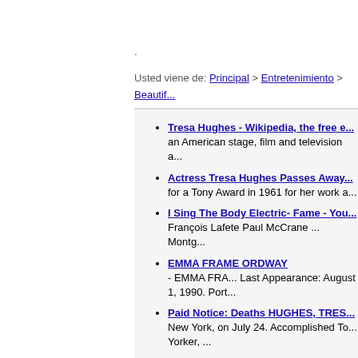.
Usted viene de: Principal > Entretenimiento > Beautif... 10800 > Tresa Hughes
Tresa Hughes - Wikipedia, the free e... an American stage, film and television a...
Actress Tresa Hughes Passes Away... for a Tony Award in 1961 for her work a...
I Sing The Body Electric- Fame - You... François Lafete Paul McCrane ... Montg...
EMMA FRAME ORDWAY - EMMA FRA... Last Appearance: August 1, 1990. Port...
Paid Notice: Deaths HUGHES, TRES... New York, on July 24. Accomplished To... Yorker, ...
Jill Kraft - Robert Temple - But the frie... Hughes, who was married to Robert Hu...
Amazon.com: Summer Wishes Winte... Dreams [VHS]: Joanne Woodward, Ma... Win ...
Amazon.com: Skylark [VHS]: Glenn C... Glenn Close, Christopher Walken, Lexi... Hughes, Lee ...
Actress Tresa Hughes Passes Away...